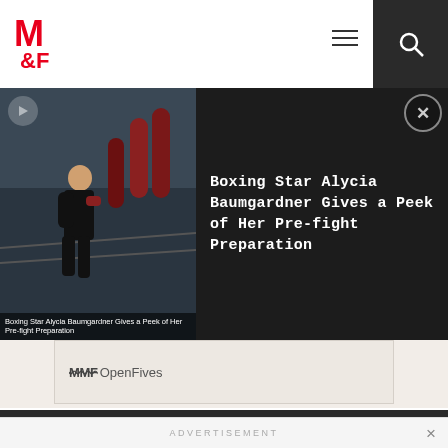M&F (Muscle & Fitness) logo with hamburger menu and search icon
[Figure (screenshot): Video thumbnail showing a female boxer training in a gym with heavy bags, with text overlay 'Boxing Star Alycia Baumgardner Gives a Peek of Her Pre-fight Preparation']
Boxing Star Alycia Baumgardner Gives a Peek of Her Pre-fight Preparation
AdChoices  Sponsored
Home / Muscle & Fitness Hers / Hers Nutrition / Spiralized Recipes That Satisfy
ADVERTISEMENT